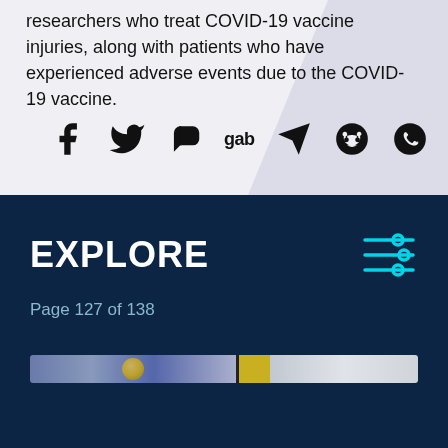researchers who treat COVID-19 vaccine injuries, along with patients who have experienced adverse events due to the COVID-19 vaccine.
[Figure (infographic): Social media sharing icons: Facebook, Twitter, Parler, Gab, Telegram, Reddit, WhatsApp]
EXPLORE
Page 127 of 138
[Figure (photo): Thumbnail strip showing partial images of articles, including a circular golden object on a blue-grey background and a lighter grey/white section]